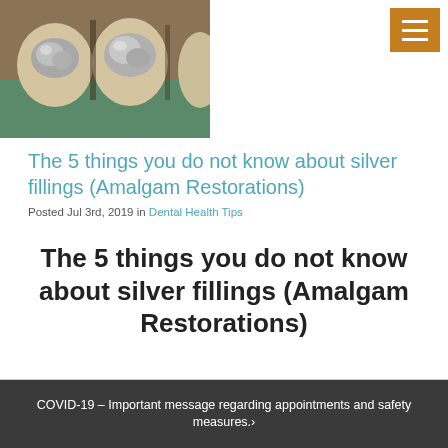[Figure (photo): Close-up photo of teeth with silver amalgam fillings on molars, with green dental dam visible]
The 5 things you do not know about silver fillings (Amalgam Restorations)
Posted Jul 3rd, 2019 in Dental Health Tips
The 5 things you do not know about silver fillings (Amalgam Restorations)
1. They are still one of the m...
Read More ›
COVID-19 – Important message regarding appointments and safety measures.›